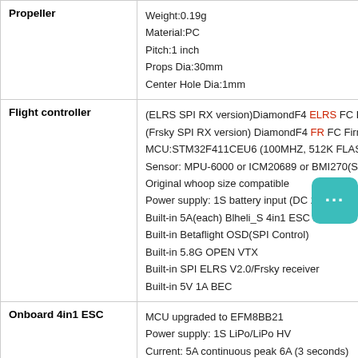| Component | Specification |
| --- | --- |
| Propeller | Weight:0.19g
Material:PC
Pitch:1 inch
Props Dia:30mm
Center Hole Dia:1mm |
| Flight controller | (ELRS SPI RX version)DiamondF4 ELRS FC Firm
(Frsky SPI RX version) DiamondF4 FR FC Firmw
MCU:STM32F411CEU6 (100MHZ, 512K FLASH
Sensor: MPU-6000 or ICM20689 or BMI270(SPI
Original whoop size compatible
Power supply: 1S battery input (DC 2.9V-4.35V)
Built-in 5A(each) Blheli_S 4in1 ESC Dshot600 re
Built-in Betaflight OSD(SPI Control)
Built-in 5.8G OPEN VTX
Built-in SPI ELRS V2.0/Frsky receiver
Built-in 5V 1A BEC |
| Onboard 4in1 ESC | MCU upgraded to EFM8BB21
Power supply: 1S LiPo/LiPo HV
Current: 5A continuous peak 6A (3 seconds)
Support BLHeliSuite programmable
Factory firmware: O_H_50_REV16_8.HEX |